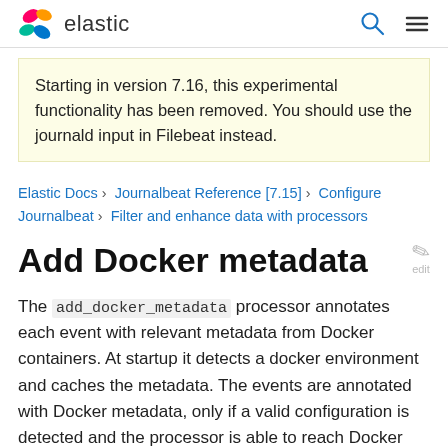elastic
Starting in version 7.16, this experimental functionality has been removed. You should use the journald input in Filebeat instead.
Elastic Docs › Journalbeat Reference [7.15] › Configure Journalbeat › Filter and enhance data with processors
Add Docker metadata
The add_docker_metadata processor annotates each event with relevant metadata from Docker containers. At startup it detects a docker environment and caches the metadata. The events are annotated with Docker metadata, only if a valid configuration is detected and the processor is able to reach Docker API.